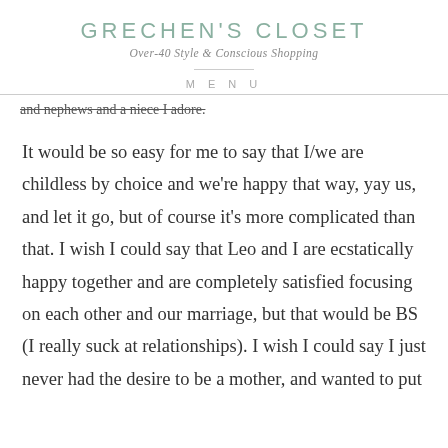GRECHEN'S CLOSET
Over-40 Style & Conscious Shopping
MENU
and nephews and a niece I adore.
It would be so easy for me to say that I/we are childless by choice and we're happy that way, yay us, and let it go, but of course it's more complicated than that.  I wish I could say that Leo and I are ecstatically happy together and are completely satisfied focusing on each other and our marriage, but that would be BS (I really suck at relationships).   I wish I could say I just never had the desire to be a mother, and wanted to put